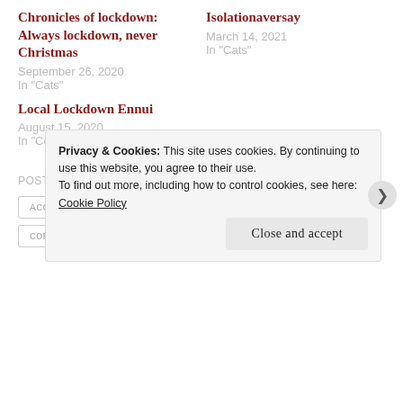Chronicles of lockdown: Always lockdown, never Christmas
September 26, 2020
In "Cats"
Isolationaversay
March 14, 2021
In "Cats"
Local Lockdown Ennui
August 15, 2020
In "Coronavirus"
POSTED IN BLOG, UNCATEGORIZED
ACCIDENTALLY ADOPTING CATS
CATS
CORONAVIRUS
LOCKDOWN
Privacy & Cookies: This site uses cookies. By continuing to use this website, you agree to their use.
To find out more, including how to control cookies, see here: Cookie Policy
Close and accept